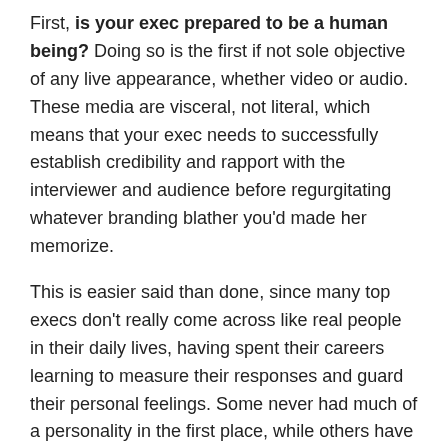First, is your exec prepared to be a human being? Doing so is the first if not sole objective of any live appearance, whether video or audio. These media are visceral, not literal, which means that your exec needs to successfully establish credibility and rapport with the interviewer and audience before regurgitating whatever branding blather you'd made her memorize.
This is easier said than done, since many top execs don't really come across like real people in their daily lives, having spent their careers learning to measure their responses and guard their personal feelings. Some never had much of a personality in the first place, while others have horribly inflated opinions of their own likability (which deservedly should be kept hidden, however imperfectly).
Therefore, you need to help them understand that their